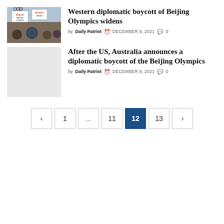[Figure (photo): Photo of protesters holding Boycott Beijing Olympics signs]
Western diplomatic boycott of Beijing Olympics widens
by Daily Patriot  DECEMBER 9, 2021  0
[Figure (photo): Gray placeholder thumbnail image]
After the US, Australia announces a diplomatic boycott of the Beijing Olympics
by Daily Patriot  DECEMBER 8, 2021  0
Pagination: < 1 ... 11 12 13 >